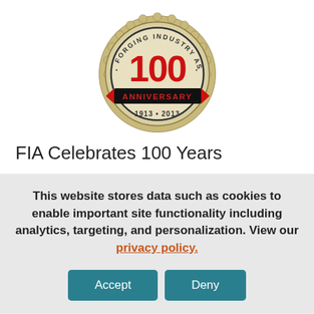[Figure (logo): Forging Industry Association 100th Anniversary logo — circular badge with gold/silver scalloped edge, text 'FORGING INDUSTRY ASSOCIATION' around top, large red '100' in center, 'ANNIVERSARY' on a black banner, red ribbon at bottom with '1913 • 2013']
FIA Celebrates 100 Years
This website stores data such as cookies to enable important site functionality including analytics, targeting, and personalization. View our privacy policy.
Accept  Deny